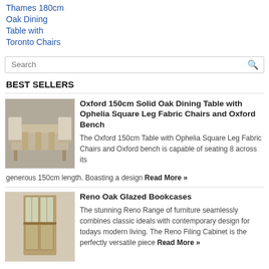Thames 180cm Oak Dining Table with Toronto Chairs
Search
BEST SELLERS
[Figure (photo): Photo of Oxford dining table set with fabric chairs and bench]
Oxford 150cm Solid Oak Dining Table with Ophelia Square Leg Fabric Chairs and Oxford Bench
The Oxford 150cm Table with Ophelia Square Leg Fabric Chairs and Oxford bench is capable of seating 8 across its generous 150cm length. Boasting a design Read More »
[Figure (photo): Photo of Reno Oak Glazed Bookcases]
Reno Oak Glazed Bookcases
The stunning Reno Range of furniture seamlessly combines classic ideals with contemporary design for todays modern living. The Reno Filing Cabinet is the perfectly versatile piece Read More »